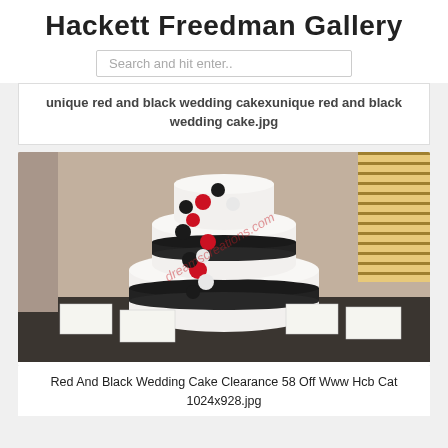Hackett Freedman Gallery
Search and hit enter..
unique red and black wedding cakexunique red and black wedding cake.jpg
[Figure (photo): Three-tier white wedding cake with black ribbon and red and black flower decorations, watermarked with dreamscreations.com]
Red And Black Wedding Cake Clearance 58 Off Www Hcb Cat
1024x928.jpg